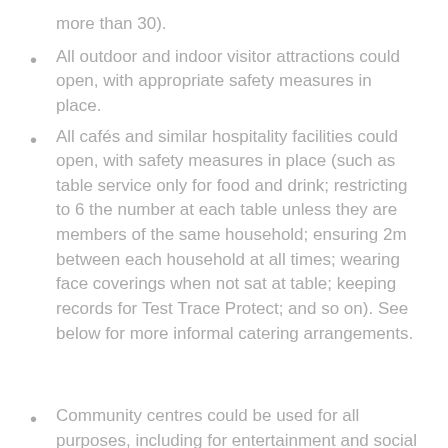more than 30).
All outdoor and indoor visitor attractions could open, with appropriate safety measures in place.
All cafés and similar hospitality facilities could open, with safety measures in place (such as table service only for food and drink; restricting to 6 the number at each table unless they are members of the same household; ensuring 2m between each household at all times; wearing face coverings when not sat at table; keeping records for Test Trace Protect; and so on). See below for more informal catering arrangements.
Community centres could be used for all purposes, including for entertainment and social activities, within